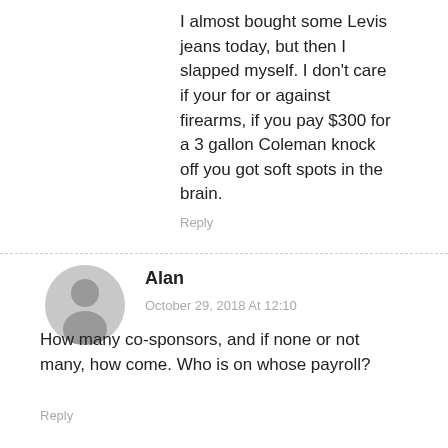I almost bought some Levis jeans today, but then I slapped myself. I don't care if your for or against firearms, if you pay $300 for a 3 gallon Coleman knock off you got soft spots in the brain.
Reply
Alan
October 29, 2018 At 12:10
How many co-sponsors, and if none or not many, how come. Who is on whose payroll?
Reply
LEAVE A REPLY
[Figure (logo): ABC checkmark logo with green check mark below ABC text]
[Figure (photo): Travel Guide for Gun Owners advertisement banner - dark background with text 'Protect yourself wherever you go' and US LawShield branding with orange arrow graphics]